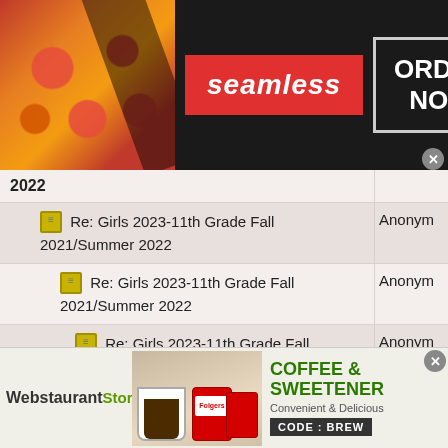[Figure (infographic): Seamless food delivery advertisement banner with pizza image, red Seamless logo, and ORDER NOW button]
2022
Re: Girls 2023-11th Grade Fall 2021/Summer 2022  Anonym
Re: Girls 2023-11th Grade Fall 2021/Summer 2022  Anonym
Re: Girls 2023-11th Grade Fall 2021/Summer 2022  Anonym
Re: Girls 2023-11th Grade Fall 2021/Summer 2022  Anonym
Re: Girls 2023-11th Grade Fall 2021/Summer 2022  Anonym
Re: Girls 2023-11th Grade Fall 2021/Summer 2022  Anonym
[Figure (infographic): WebstaurantStore coffee and sweetener advertisement with Folgers coffee products and CODE: BREW promotion]